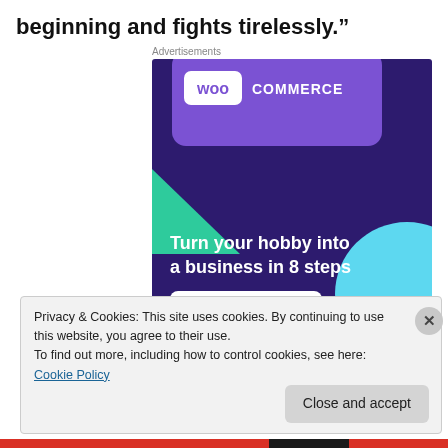beginning and fights tirelessly.”
Advertisements
[Figure (illustration): WooCommerce advertisement banner with purple background, WooCommerce logo, green triangle, cyan circle, headline 'Turn your hobby into a business in 8 steps', and 'Start a new store' button]
Privacy & Cookies: This site uses cookies. By continuing to use this website, you agree to their use.
To find out more, including how to control cookies, see here: Cookie Policy